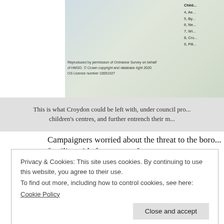[Figure (map): Partial map of Croydon borough showing children's centres locations, with an Ordnance Survey copyright credit and a numbered legend on the right side listing children's centres 4-9.]
This is what Croydon could be left with, under council pro... children's centres, and further entrench their m...
Campaigners worried about the threat to the boro... familiar with the pattern of cuts.
Nicola James, a parent of three young children wh... centre, is upset. “These children’s centres are an ab...
Privacy & Cookies: This site uses cookies. By continuing to use this website, you agree to their use. To find out more, including how to control cookies, see here: Cookie Policy
Close and accept